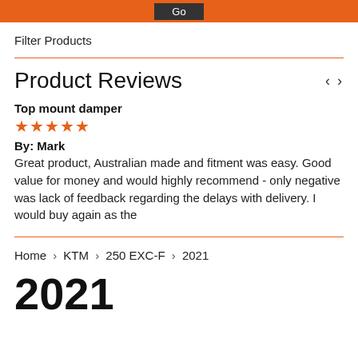Go
Filter Products
Product Reviews
Top mount damper
★★★★★
By: Mark
Great product, Australian made and fitment was easy. Good value for money and would highly recommend - only negative was lack of feedback regarding the delays with delivery. I would buy again as the
Home › KTM › 250 EXC-F › 2021
2021